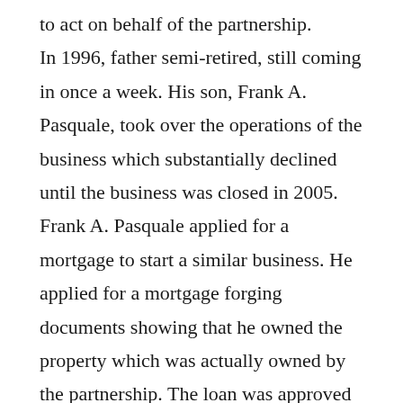to act on behalf of the partnership. In 1996, father semi-retired, still coming in once a week. His son, Frank A. Pasquale, took over the operations of the business which substantially declined until the business was closed in 2005. Frank A. Pasquale applied for a mortgage to start a similar business. He applied for a mortgage forging documents showing that he owned the property which was actually owned by the partnership. The loan was approved and the underlying property was used as collateral. The loan entered default in 2005. A foreclosure complaint was filed but the father was never served. When he found out about it, he moved to vacate the default judgment entered against his son, and the Court agreed. Frank A. Pasquale had nothing to do with the partnership and did not own the underlying property. The